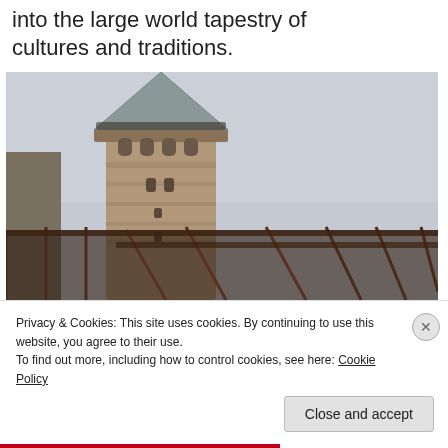into the large world tapestry of cultures and traditions.
[Figure (photo): Photograph of Galata Tower in Istanbul, Turkey, viewed from a nearby balcony with a metal railing in the foreground. The tower has a conical top and stone cylindrical body with a viewing platform near the top. The sky is overcast and grey.]
Privacy & Cookies: This site uses cookies. By continuing to use this website, you agree to their use.
To find out more, including how to control cookies, see here: Cookie Policy